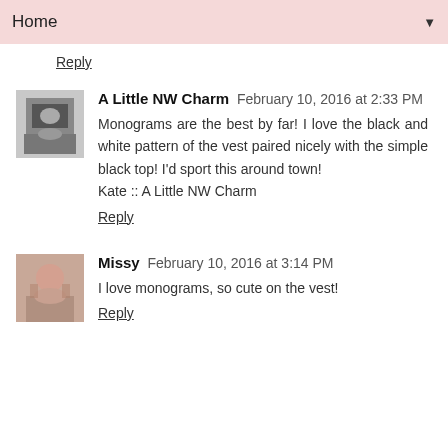Home
Reply
A Little NW Charm  February 10, 2016 at 2:33 PM
Monograms are the best by far! I love the black and white pattern of the vest paired nicely with the simple black top! I'd sport this around town!
Kate :: A Little NW Charm
Reply
Missy  February 10, 2016 at 3:14 PM
I love monograms, so cute on the vest!
Reply